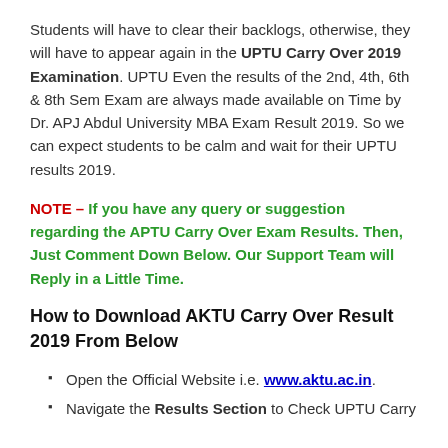Students will have to clear their backlogs, otherwise, they will have to appear again in the UPTU Carry Over 2019 Examination. UPTU Even the results of the 2nd, 4th, 6th & 8th Sem Exam are always made available on Time by Dr. APJ Abdul University MBA Exam Result 2019. So we can expect students to be calm and wait for their UPTU results 2019.
NOTE – If you have any query or suggestion regarding the APTU Carry Over Exam Results. Then, Just Comment Down Below. Our Support Team will Reply in a Little Time.
How to Download AKTU Carry Over Result 2019 From Below
Open the Official Website i.e. www.aktu.ac.in.
Navigate the Results Section to Check UPTU Carry